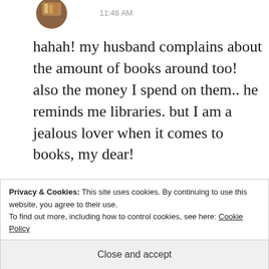[Figure (photo): Circular avatar photo of a person, partially visible at top of page]
11:46 AM
hahah! my husband complains about the amount of books around too! also the money I spend on them.. he reminds me libraries. but I am a jealous lover when it comes to books, my dear!
★ Like
Privacy & Cookies: This site uses cookies. By continuing to use this website, you agree to their use.
To find out more, including how to control cookies, see here: Cookie Policy
Close and accept